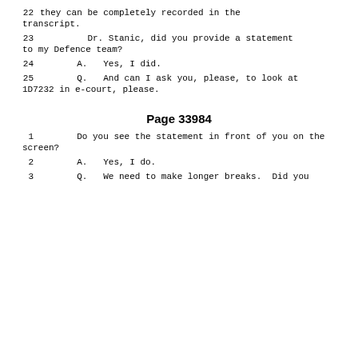22    they can be completely recorded in the transcript.
23              Dr. Stanic, did you provide a statement to my Defence team?
24         A.   Yes, I did.
25         Q.   And can I ask you, please, to look at 1D7232 in e-court, please.
Page 33984
1       Do you see the statement in front of you on the screen?
2         A.   Yes, I do.
3         Q.   We need to make longer breaks.  Did you